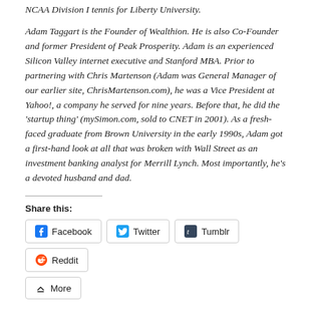NCAA Division I tennis for Liberty University.
Adam Taggart is the Founder of Wealthion. He is also Co-Founder and former President of Peak Prosperity. Adam is an experienced Silicon Valley internet executive and Stanford MBA. Prior to partnering with Chris Martenson (Adam was General Manager of our earlier site, ChrisMartenson.com), he was a Vice President at Yahoo!, a company he served for nine years. Before that, he did the 'startup thing' (mySimon.com, sold to CNET in 2001). As a fresh-faced graduate from Brown University in the early 1990s, Adam got a first-hand look at all that was broken with Wall Street as an investment banking analyst for Merrill Lynch. Most importantly, he's a devoted husband and dad.
Share this: